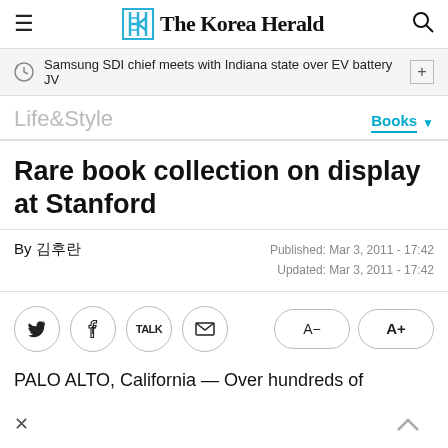The Korea Herald
Samsung SDI chief meets with Indiana state over EV battery JV
Life&Style
Books
Rare book collection on display at Stanford
By 김후란
Published: Mar 3, 2011 - 17:42
Updated: Mar 3, 2011 - 17:42
PALO ALTO, California — Over hundreds of